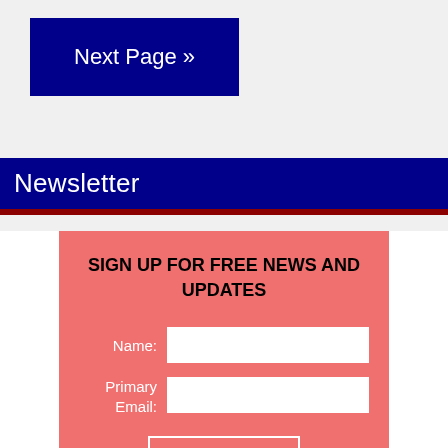[Figure (other): Dark blue button labeled 'Next Page »']
Newsletter
SIGN UP FOR FREE NEWS AND UPDATES
Name:
Primary Email: